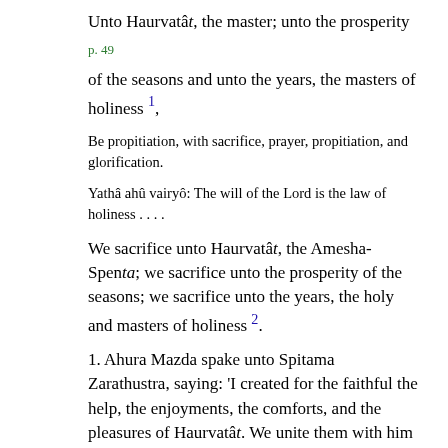Unto Haurvatât, the master; unto the prosperity
p. 49
of the seasons and unto the years, the masters of holiness 1,
Be propitiation, with sacrifice, prayer, propitiation, and glorification.
Yathâ ahû vairyô: The will of the Lord is the law of holiness . . . .
We sacrifice unto Haurvatât, the Amesha-Spenta; we sacrifice unto the prosperity of the seasons; we sacrifice unto the years, the holy and masters of holiness 2.
1. Ahura Mazda spake unto Spitama Zarathustra, saying: 'I created for the faithful the help, the enjoyments, the comforts, and the pleasures of Haurvatât. We unite them with him who would come up to thee as one of the Amesha-Spentas, as he would come to any of the Amesha-